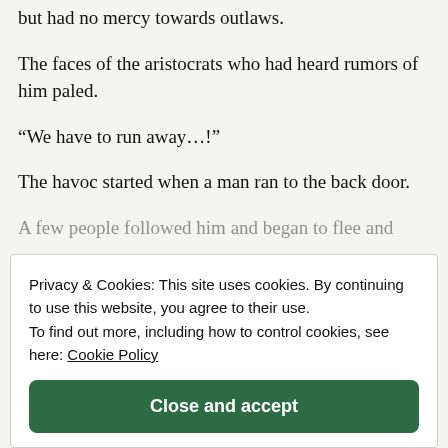but had no mercy towards outlaws.
The faces of the aristocrats who had heard rumors of him paled.
“We have to run away…!”
The havoc started when a man ran to the back door.
A few people followed him and began to flee and
Privacy & Cookies: This site uses cookies. By continuing to use this website, you agree to their use.
To find out more, including how to control cookies, see here: Cookie Policy
Close and accept